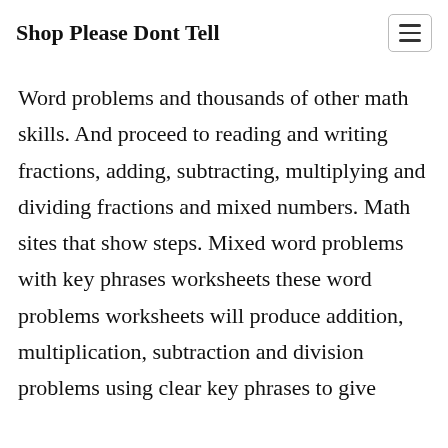Shop Please Dont Tell
Word problems and thousands of other math skills. And proceed to reading and writing fractions, adding, subtracting, multiplying and dividing fractions and mixed numbers. Math sites that show steps. Mixed word problems with key phrases worksheets these word problems worksheets will produce addition, multiplication, subtraction and division problems using clear key phrases to give